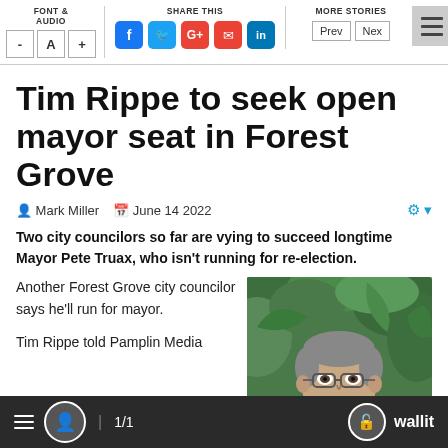FONT & AUDIO   SHARE THIS   MORE STORIES
Tim Rippe to seek open mayor seat in Forest Grove
Mark Miller   June 14 2022
Two city councilors so far are vying to succeed longtime Mayor Pete Truax, who isn't running for re-election.
Another Forest Grove city councilor says he'll run for mayor.
Tim Rippe told Pamplin Media
[Figure (photo): Photo of Tim Rippe, a man with grey hair and glasses, in front of green foliage]
1/1   wallit